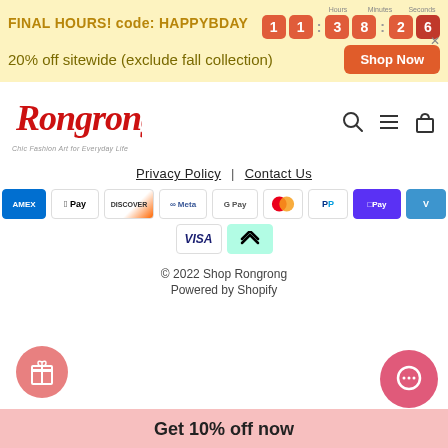FINAL HOURS! code: HAPPYBDAY | Timer: 11:38:26 | 20% off sitewide (exclude fall collection) | Shop Now
[Figure (logo): Rongrong script logo with tagline 'Chic Fashion Art for Everyday Life']
Privacy Policy | Contact Us
[Figure (infographic): Payment method icons: AMEX, Apple Pay, Discover, Meta Pay, Google Pay, Mastercard, PayPal, Shop Pay, Venmo, Visa, Afterpay]
© 2022 Shop Rongrong
Powered by Shopify
Get 10% off now